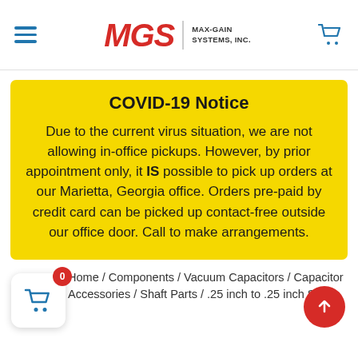MGS MAX-GAIN SYSTEMS, INC.
COVID-19 Notice
Due to the current virus situation, we are not allowing in-office pickups. However, by prior appointment only, it IS possible to pick up orders at our Marietta, Georgia office. Orders pre-paid by credit card can be picked up contact-free outside our office door. Call to make arrangements.
Home / Components / Vacuum Capacitors / Capacitor Accessories / Shaft Parts / .25 inch to .25 inch Shaft